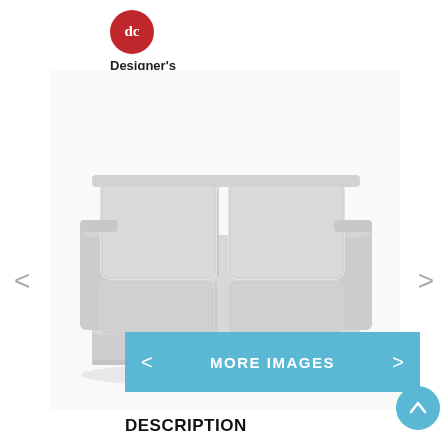[Figure (logo): Designer's Collection logo: red circle with 'dc' initials and text 'Designer's Collection' to the right]
[Figure (photo): A light grey two-seat slipcovered sofa with clean modern lines, photographed on a white background]
<
>
< MORE IMAGES >
DESCRIPTION